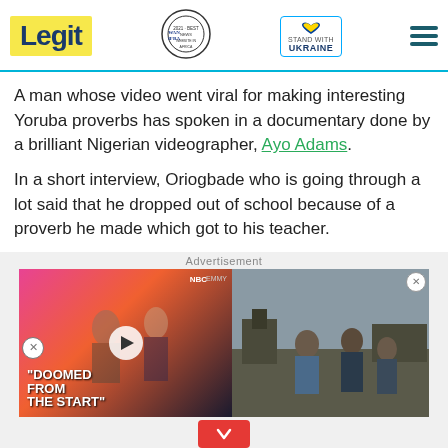Legit | WAN-IFRA 2021 Best News Website in Africa | Stand with Ukraine
A man whose video went viral for making interesting Yoruba proverbs has spoken in a documentary done by a brilliant Nigerian videographer, Ayo Adams.
In a short interview, Oriogbade who is going through a lot said that he dropped out of school because of a proverb he made which got to his teacher.
Advertisement
[Figure (screenshot): Advertisement banner showing a video with text 'DOOMED FROM THE START' on the left side with NBC and EMMY logos, a play button, and a Ukraine refugee scene on the right side. Below is a 'Hold and Move' banner ad with question mark and X close button.]